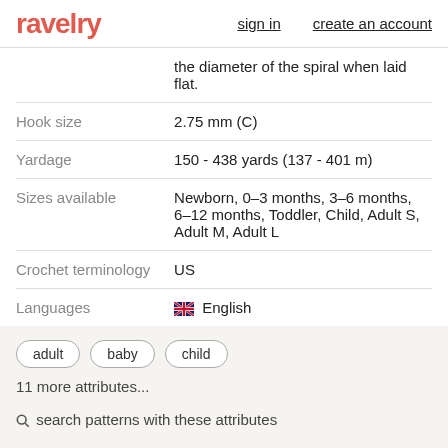ravelry  sign in  create an account
|  | the diameter of the spiral when laid flat. |
| Hook size | 2.75 mm (C) |
| Yardage | 150 - 438 yards (137 - 401 m) |
| Sizes available | Newborn, 0–3 months, 3–6 months, 6–12 months, Toddler, Child, Adult S, Adult M, Adult L |
| Crochet terminology | US |
| Languages | 🇬🇧 English |
adult
baby
child
11 more attributes...
🔍 search patterns with these attributes